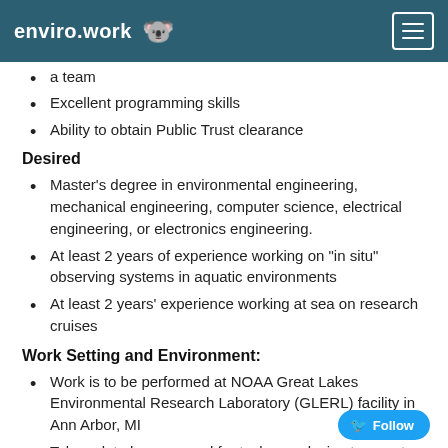enviro.work 🐨
a team
Excellent programming skills
Ability to obtain Public Trust clearance
Desired
Master's degree in environmental engineering, mechanical engineering, computer science, electrical engineering, or electronics engineering.
At least 2 years of experience working on "in situ" observing systems in aquatic environments
At least 2 years' experience working at sea on research cruises
Work Setting and Environment:
Work is to be performed at NOAA Great Lakes Environmental Research Laboratory (GLERL) facility in Ann Arbor, MI
Telework to be approved for tasks conducive to remote work
Some field travel to local Great Lakes will be required